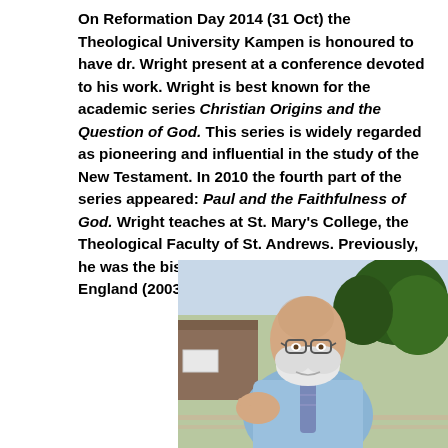On Reformation Day 2014 (31 Oct) the Theological University Kampen is honoured to have dr. Wright present at a conference devoted to his work. Wright is best known for the academic series Christian Origins and the Question of God. This series is widely regarded as pioneering and influential in the study of the New Testament. In 2010 the fourth part of the series appeared: Paul and the Faithfulness of God. Wright teaches at St. Mary's College, the Theological Faculty of St. Andrews. Previously, he was the bishop of Durham in the Church of England (2003-2010).
[Figure (photo): Photo of an older bald man with a white beard, wearing glasses and a light blue shirt with a striped tie, seated outdoors, gesturing with his hand. Background shows trees and a building.]